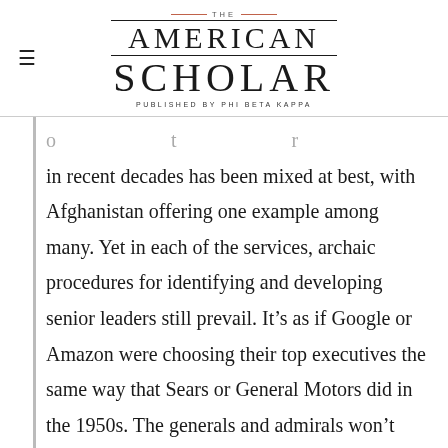THE AMERICAN SCHOLAR — PUBLISHED BY PHI BETA KAPPA
in recent decades has been mixed at best, with Afghanistan offering one example among many. Yet in each of the services, archaic procedures for identifying and developing senior leaders still prevail. It’s as if Google or Amazon were choosing their top executives the same way that Sears or General Motors did in the 1950s. The generals and admirals won’t change these methods. From their vantage point, the system works just swell. When will civilian leaders care enough about